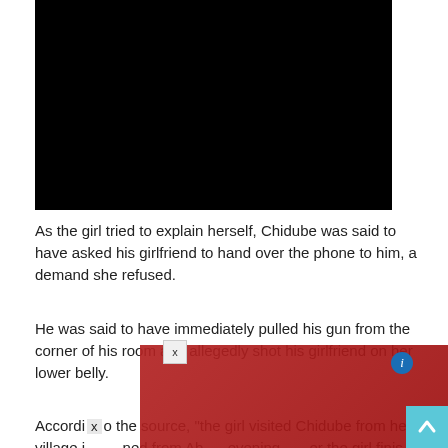[Figure (photo): Black redacted image at top of page]
As the girl tried to explain herself, Chidube was said to have asked his girlfriend to hand over the phone to him, a demand she refused.
He was said to have immediately pulled his gun from the corner of his room and allegedly shot his girlfriend on her lower belly.
Accordi[x]o the source, “the girl visited Chidube from her village i[...][i]ned from Ab[...] evening[...]er the girl finis[...]to